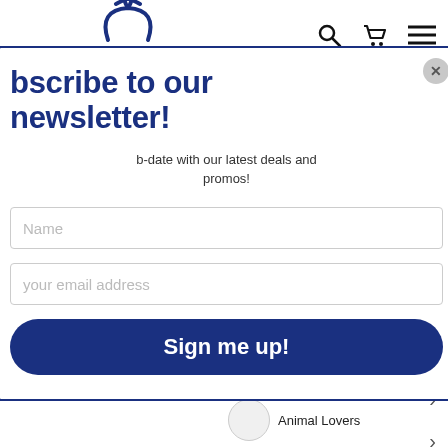[Figure (screenshot): Website screenshot showing a newsletter subscription popup modal overlaid on an e-commerce page. The modal has a navy blue border and contains a title 'Subscribe to our newsletter!', subtitle text about deals and promos, name and email input fields, and a 'Sign me up!' button. The background shows navigation icons (search, cart, menu), view toggle icons, a promotional banner about 10% off first purchase with a black arrow button, and category navigation items.]
Subscribe to our newsletter!
Stay up-to-date with our latest deals and promos!
Name
your email address
Sign me up!
10% off your first purchase
Animal Lovers